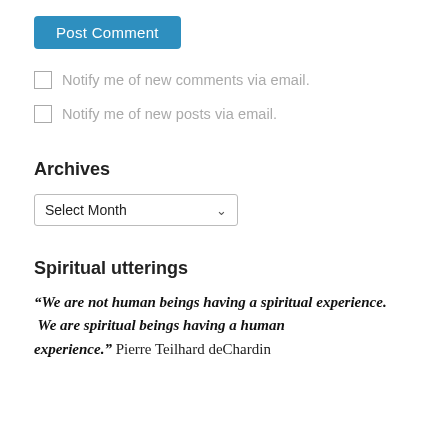Post Comment
Notify me of new comments via email.
Notify me of new posts via email.
Archives
Select Month
Spiritual utterings
“We are not human beings having a spiritual experience. We are spiritual beings having a human experience.” Pierre Teilhard deChardin